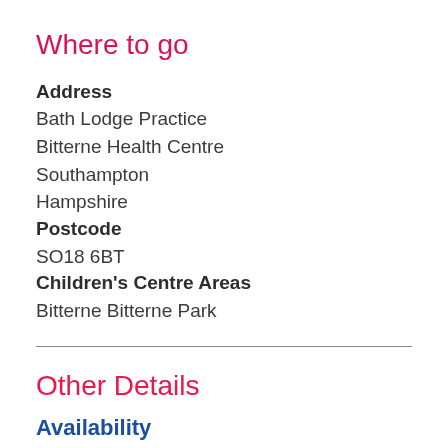Where to go
Address
Bath Lodge Practice
Bitterne Health Centre
Southampton
Hampshire
Postcode
SO18 6BT
Children's Centre Areas
Bitterne Bitterne Park
Other Details
Availability